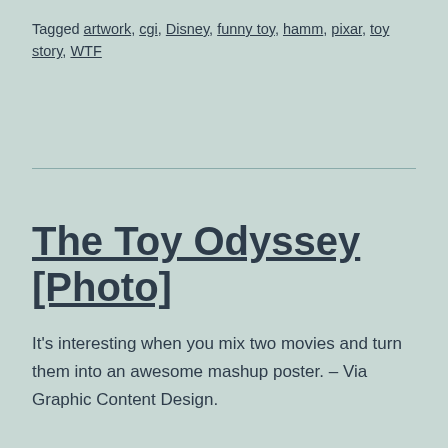Tagged artwork, cgi, Disney, funny toy, hamm, pixar, toy story, WTF
The Toy Odyssey [Photo]
It's interesting when you mix two movies and turn them into an awesome mashup poster. – Via Graphic Content Design.